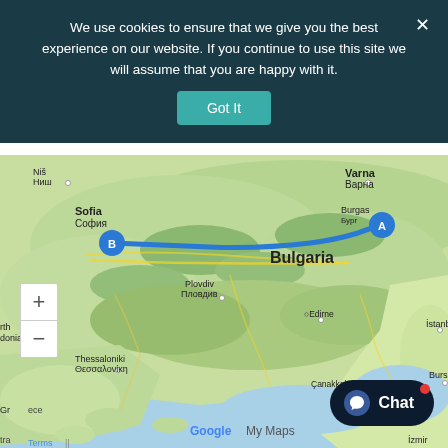We use cookies to ensure that we give you the best experience on our website. If you continue to use this site we will assume that you are happy with it.
[Figure (map): Google My Maps showing a route across Bulgaria from Sofia (point B) to Burgas (point A), with surrounding countries including Greece, North Macedonia, Turkey visible. A thick blue line shows the route east across Bulgaria.]